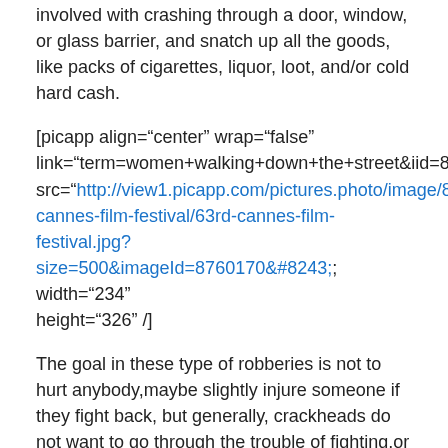involved with crashing through a door, window, or glass barrier, and snatch up all the goods, like packs of cigarettes, liquor, loot, and/or cold hard cash.
[picapp align="center" wrap="false" link="term=women+walking+down+the+street&iid=8760170" src="http://view1.picapp.com/pictures.photo/image/8760170/63rd-cannes-film-festival/63rd-cannes-film-festival.jpg?size=500&imageId=8760170&#8243; width="234" height="326" /]
The goal in these type of robberies is not to hurt anybody,maybe slightly injure someone if they fight back, but generally, crackheads do not want to go through the trouble of fighting,or face a murder conviction over what usually amounts to a minor financial lose to the victims.